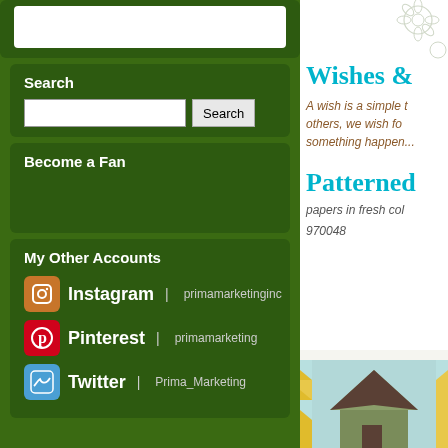Search
Become a Fan
My Other Accounts
Instagram | primamarketinginc
Pinterest | primamarketing
Twitter | Prima_Marketing
[Figure (illustration): Floral decorative elements in light gray outline style, top right corner]
Wishes &
A wish is a simple t others, we wish fo something happen...
Patterned
papers in fresh col
970048
[Figure (photo): Product image showing patterned scrapbook paper with house illustration, teal background, yellow bunting strips on sides]